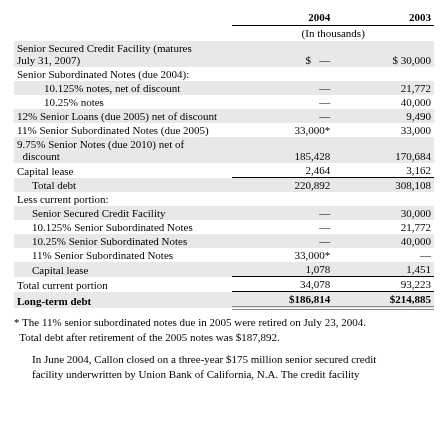|  | 2004 | 2003 |
| --- | --- | --- |
| (In thousands) |  |  |
| Senior Secured Credit Facility (matures July 31, 2007) | $  — | $ 30,000 |
| Senior Subordinated Notes (due 2004): |  |  |
|    10.125% notes, net of discount | — | 21,772 |
|    10.25% notes | — | 40,000 |
| 12% Senior Loans (due 2005) net of discount | — | 9,490 |
| 11% Senior Subordinated Notes (due 2005) | 33,000* | 33,000 |
| 9.75% Senior Notes (due 2010) net of discount | 185,428 | 170,684 |
| Capital lease | 2,464 | 3,162 |
|    Total debt | 220,892 | 308,108 |
| Less current portion: |  |  |
|    Senior Secured Credit Facility | — | 30,000 |
|    10.125% Senior Subordinated Notes | — | 21,772 |
|    10.25% Senior Subordinated Notes | — | 40,000 |
|    11% Senior Subordinated Notes | 33,000* | — |
|    Capital lease | 1,078 | 1,451 |
| Total current portion | 34,078 | 93,223 |
| Long-term debt | $186,814 | $214,885 |
* The 11% senior subordinated notes due in 2005 were retired on July 23, 2004. Total debt after retirement of the 2005 notes was $187,892.
In June 2004, Callon closed on a three-year $175 million senior secured credit facility underwritten by Union Bank of California, N.A. The credit facility